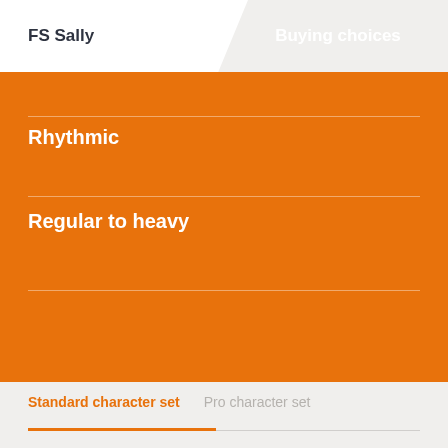FS Sally
Buying choices
Rhythmic
Regular to heavy
Standard character set
Pro character set
Lowercase
Uppercase